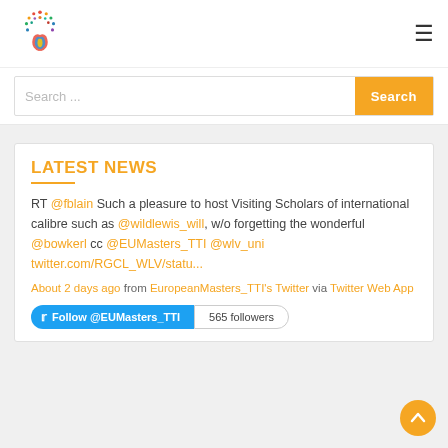[Figure (logo): Colorful circular logo with people/dots pattern and flame-like base in red/blue/yellow]
Search ...
LATEST NEWS
RT @fblain Such a pleasure to host Visiting Scholars of international calibre such as @wildlewis_will, w/o forgetting the wonderful @bowkerl cc @EUMasters_TTI @wlv_uni twitter.com/RGCL_WLV/statu...
About 2 days ago from EuropeanMasters_TTI's Twitter via Twitter Web App
Follow @EUMasters_TTI   565 followers